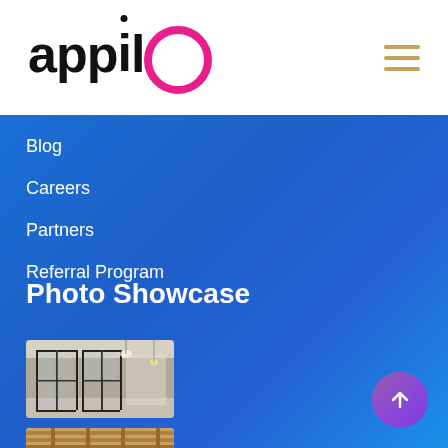appilo
Blog
Careers
Partners
Referral Program
Photo Showcase
[Figure (photo): Office interior with black steel frame glass doors and pendant lighting]
[Figure (photo): Open office workspace with exposed wooden ceiling beams and people working]